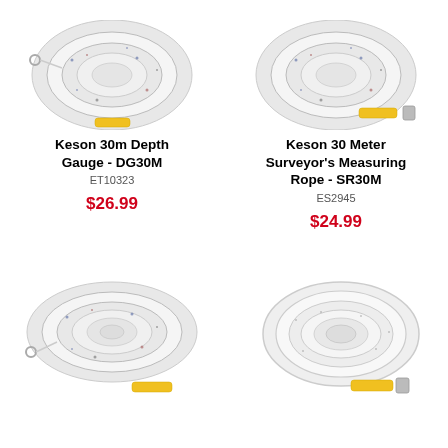[Figure (photo): Keson 30m Depth Gauge rope coil with yellow strap, top cropped]
[Figure (photo): Keson 30 Meter Surveyor's Measuring Rope coil with yellow strap, top cropped]
Keson 30m Depth Gauge - DG30M
ET10323
$26.99
Keson 30 Meter Surveyor's Measuring Rope - SR30M
ES2945
$24.99
[Figure (photo): Keson rope/line coil with hook and yellow strap, bottom of page left]
[Figure (photo): Keson flat white measuring tape coil with yellow strap, bottom of page right]